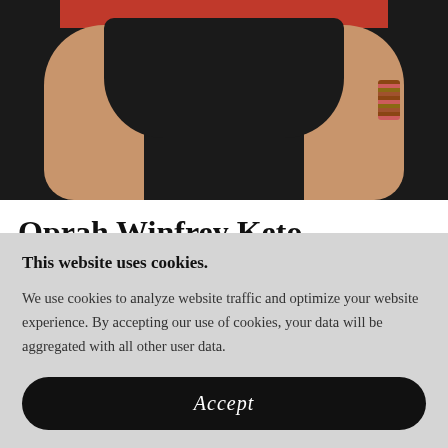[Figure (photo): Cropped photo of a person wearing a black and red bikini, showing the midsection/hips area. A bracelet is visible on the right wrist.]
Oprah Winfrey Keto Gummies Review
This website uses cookies.
We use cookies to analyze website traffic and optimize your website experience. By accepting our use of cookies, your data will be aggregated with all other user data.
Accept